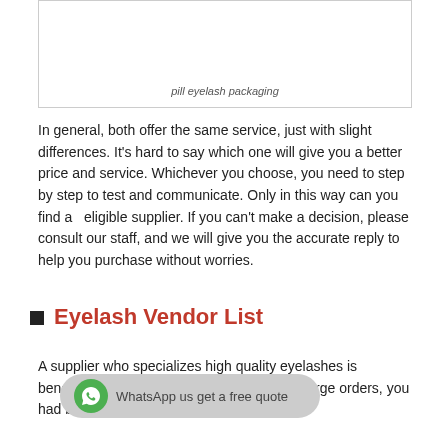[Figure (photo): Image box showing pill eyelash packaging (mostly white/empty area visible)]
pill eyelash packaging
In general, both offer the same service, just with slight differences. It’s hard to say which one will give you a better price and service. Whichever you choose, you need to step by step to test and communicate. Only in this way can you find a  eligible supplier. If you can’t make a decision, please consult our staff, and we will give you the accurate reply to help you purchase without worries.
Eyelash Vendor List
A supplier who specializes high quality eyelashes is beneficial to your business. Before placing large orders, you had better purchase samples first and choose one.